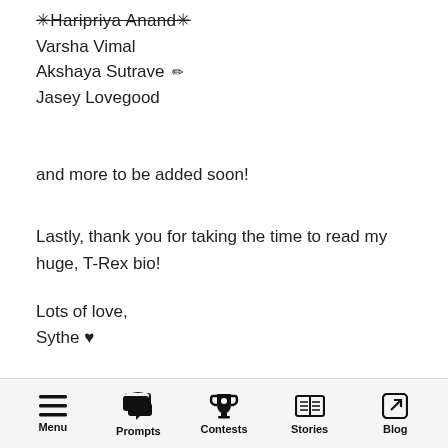✳Haripriya Anand✳ (strikethrough)
Varsha Vimal
Akshaya Sutrave ✏
Jasey Lovegood
and more to be added soon!
Lastly, thank you for taking the time to read my huge, T-Rex bio!
Lots of love,
Sythe ♥
Menu  Prompts  Contests  Stories  Blog